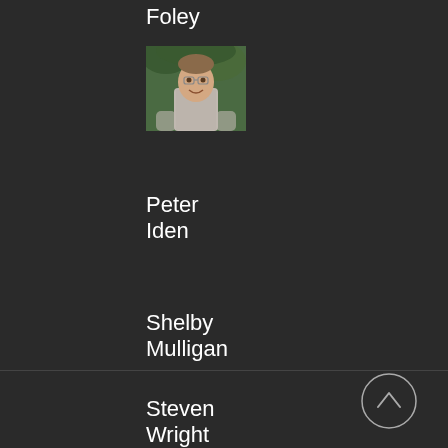Foley
[Figure (photo): Small headshot photo of a man outdoors]
Peter Iden
Shelby Mulligan
Steven Wright